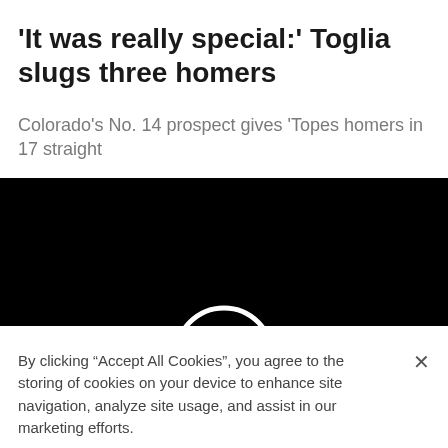'It was really special:' Toglia slugs three homers
Colorado's No. 14 prospect gives 'Topes homers in 17 straight
[Figure (screenshot): Black video player area with a white circle arc visible at the bottom center]
By clicking “Accept All Cookies”, you agree to the storing of cookies on your device to enhance site navigation, analyze site usage, and assist in our marketing efforts.
Cookies Settings
Accept All Cookies